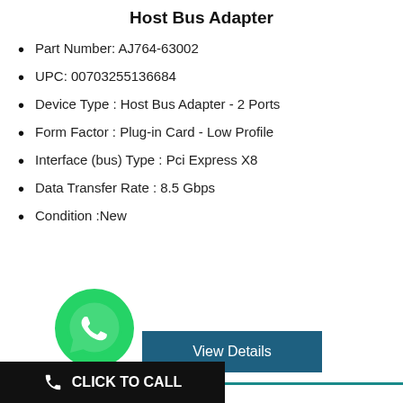Host Bus Adapter
Part Number: AJ764-63002
UPC: 00703255136684
Device Type : Host Bus Adapter - 2 Ports
Form Factor : Plug-in Card - Low Profile
Interface (bus) Type : Pci Express X8
Data Transfer Rate : 8.5 Gbps
Condition :New
[Figure (logo): WhatsApp logo - green circle with white phone handset icon]
View Details
CLICK TO CALL